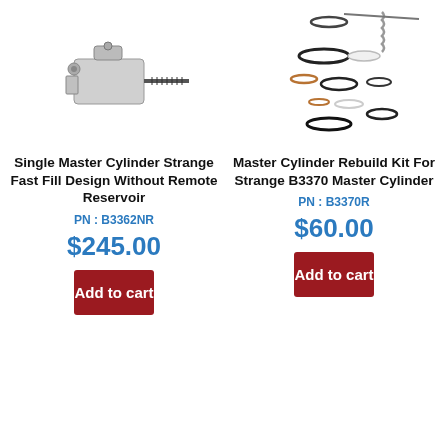[Figure (photo): Single master cylinder with screw shaft, aluminum body, Strange Fast Fill Design]
[Figure (photo): Master cylinder rebuild kit showing seals, o-rings, spring, washers and small parts for Strange B3370]
Single Master Cylinder Strange Fast Fill Design Without Remote Reservoir
Master Cylinder Rebuild Kit For Strange B3370 Master Cylinder
PN : B3362NR
PN : B3370R
$245.00
$60.00
Add to cart
Add to cart